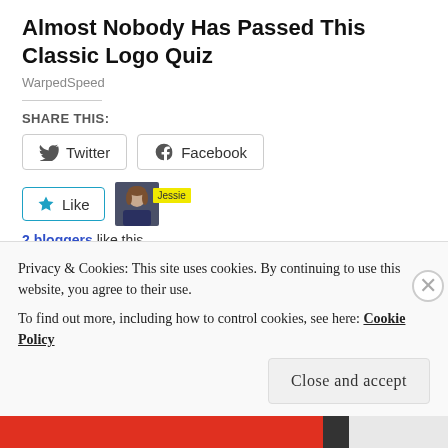Almost Nobody Has Passed This Classic Logo Quiz
WarpedSpeed
SHARE THIS:
[Figure (screenshot): Twitter and Facebook share buttons]
[Figure (screenshot): Like button with avatar image and Jessie tag showing 2 bloggers like this]
2 bloggers like this.
RELATED
The Next 30
Resolution Check Up!
Privacy & Cookies: This site uses cookies. By continuing to use this website, you agree to their use.
To find out more, including how to control cookies, see here: Cookie Policy
Close and accept